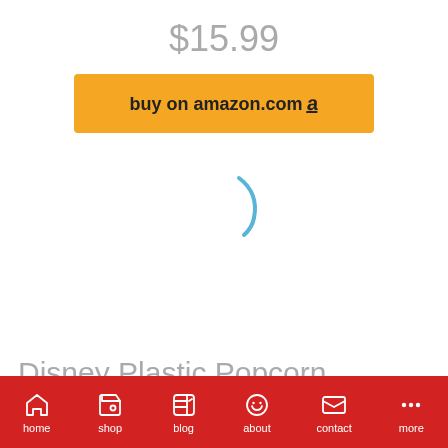$15.99
buy on amazon.com a
[Figure (other): Loading spinner arc in blue]
Disney Plastic Popcorn Container and Bowls, Mickey
home  shop  blog  about  contact  more